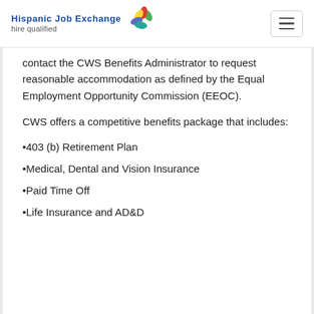Hispanic Job Exchange hire qualified
contact the CWS Benefits Administrator to request reasonable accommodation as defined by the Equal Employment Opportunity Commission (EEOC).
CWS offers a competitive benefits package that includes:
•403 (b) Retirement Plan
•Medical, Dental and Vision Insurance
•Paid Time Off
•Life Insurance and AD&D